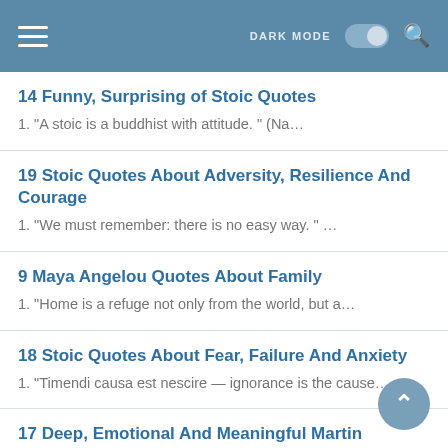DARK MODE  [toggle]  [search]
14 Funny, Surprising of Stoic Quotes
1. "A stoic is a buddhist with attitude. " (Na…
19 Stoic Quotes About Adversity, Resilience And Courage
1. "We must remember: there is no easy way. " …
9 Maya Angelou Quotes About Family
1. "Home is a refuge not only from the world, but a…
18 Stoic Quotes About Fear, Failure And Anxiety
1. "Timendi causa est nescire — ignorance is the cause…
17 Deep, Emotional And Meaningful Martin